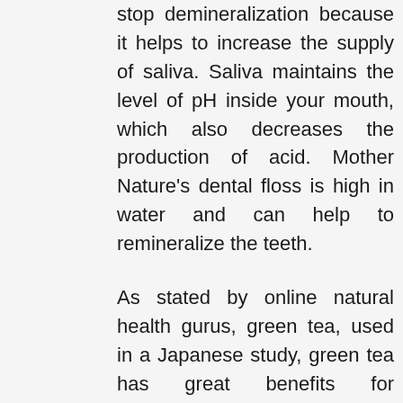stop demineralization because it helps to increase the supply of saliva. Saliva maintains the level of pH inside your mouth, which also decreases the production of acid. Mother Nature's dental floss is high in water and can help to remineralize the teeth.
As stated by online natural health gurus, green tea, used in a Japanese study, green tea has great benefits for improving gum health. Movement of gums and bleeding from your teeth can